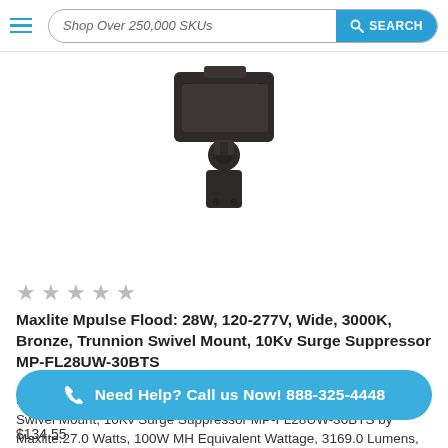Shop Over 250,000 SKUs  SEARCH
[Figure (photo): Maxlite Mpulse Flood light fixture with trunnion swivel mount, bronze finish, shown against white background]
★ ★ ★ ★ ★
Maxlite Mpulse Flood: 28W, 120-277V, Wide, 3000K, Bronze, Trunnion Swivel Mount, 10Kv Surge Suppressor MP-FL28UW-30BTS
Mpulse Flood: 28W, 120-277V, Wide, 3000K, Bronze, Trunnion Swivel Mount, 10Kv Surge Suppressor MP-FL28UW-30BTS by Maxlite.27.0 Watts, 100W MH Equivalent Wattage, 3169.0 Lumens, 10 Year Warranty
Need Help? Call us Now! 888-325-4448
$134.55